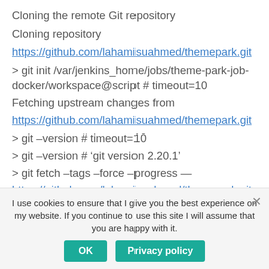Cloning the remote Git repository
Cloning repository
https://github.com/lahamisuahmed/themepark.git
> git init /var/jenkins_home/jobs/theme-park-job-docker/workspace@script # timeout=10
Fetching upstream changes from
https://github.com/lahamisuahmed/themepark.git
> git –version # timeout=10
> git –version # 'git version 2.20.1'
> git fetch –tags –force –progress —
https://github.com/lahamisuahmed/themepark.git
I use cookies to ensure that I give you the best experience on my website. If you continue to use this site I will assume that you are happy with it.